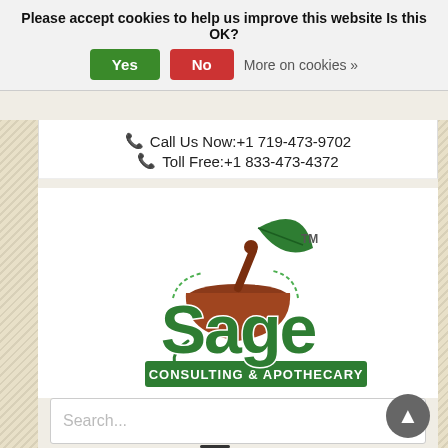Please accept cookies to help us improve this website Is this OK?
Yes   No   More on cookies »
📞 Call Us Now:+1 719-473-9702
📞 Toll Free:+1 833-473-4372
[Figure (logo): Sage Consulting & Apothecary logo — green mortar and pestle with a leaf, large green 'Sage' wordmark, green banner reading 'CONSULTING & APOTHECARY']
Search...
≡ MENU
Home » Uva Ursi Leaf Powder Bulk